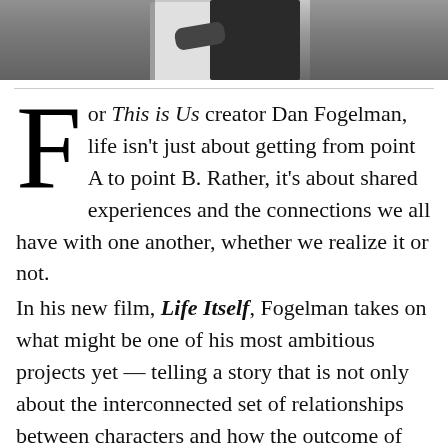[Figure (photo): A photograph showing two people embracing or standing together, partially visible at the top of the page, cropped to show only the lower portion of the image.]
For This is Us creator Dan Fogelman, life isn't just about getting from point A to point B. Rather, it's about shared experiences and the connections we all have with one another, whether we realize it or not.
In his new film, Life Itself, Fogelman takes on what might be one of his most ambitious projects yet — telling a story that is not only about the interconnected set of relationships between characters and how the outcome of one relationship trickles